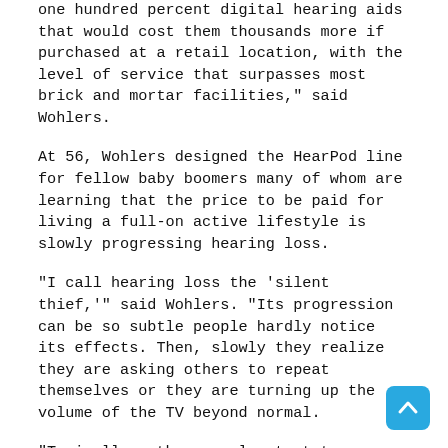one hundred percent digital hearing aids that would cost them thousands more if purchased at a retail location, with the level of service that surpasses most brick and mortar facilities," said Wohlers.
At 56, Wohlers designed the HearPod line for fellow baby boomers many of whom are learning that the price to be paid for living a full-on active lifestyle is slowly progressing hearing loss.
"I call hearing loss the 'silent thief,'" said Wohlers. "Its progression can be so subtle people hardly notice its effects. Then, slowly they realize they are asking others to repeat themselves or they are turning up the volume of the TV beyond normal.
"Typically, other people start to suggest the person should get a hearing aid, but they back away and go into denial," said Wohlers. "They react like 'What, me need a